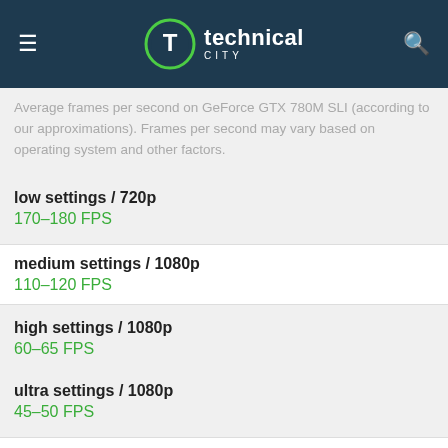technical city
Average frames per second on GeForce GTX 780M SLI (according to our approximations). Frames per second may vary based on operating system and other factors.
low settings / 720p
170–180 FPS
medium settings / 1080p
110–120 FPS
high settings / 1080p
60–65 FPS
ultra settings / 1080p
45–50 FPS
QHD / 1440p